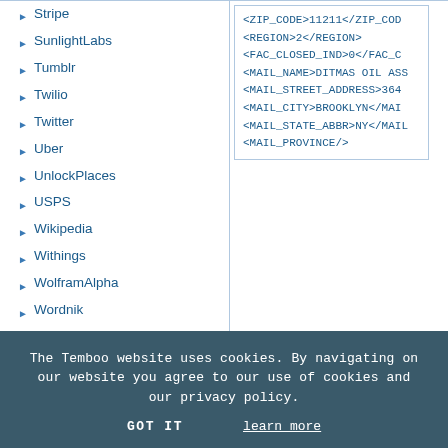Stripe
SunlightLabs
Tumblr
Twilio
Twitter
Uber
UnlockPlaces
USPS
Wikipedia
Withings
WolframAlpha
Wordnik
Xively
Yahoo
Yelp
YouTube
Zendesk
Zillow
Utilities
Labs
[Figure (screenshot): XML code snippet showing ZIP_CODE 11211, REGION 2, FAC_CLOSED_IND 0, MAIL_NAME DITMAS OIL ASS, MAIL_STREET_ADDRESS 364, MAIL_CITY BROOKLYN, MAIL_STATE_ABBR NY, MAIL_PROVINCE truncated]
The Temboo website uses cookies. By navigating on our website you agree to our use of cookies and our privacy policy.
GOTIT    learn more